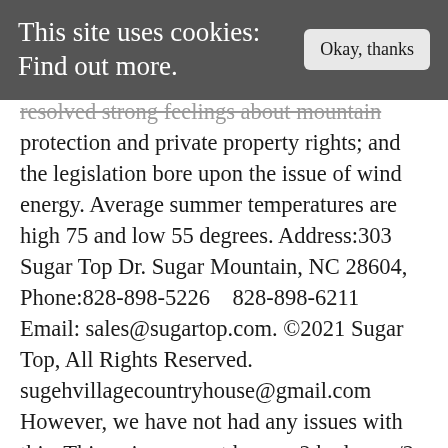This site uses cookies: Find out more.
Okay, thanks
resolved strong feelings about mountain protection and private property rights; and the legislation bore upon the issue of wind energy. Average summer temperatures are high 75 and low 55 degrees. Address:303 Sugar Top Dr. Sugar Mountain, NC 28604, Phone:828-898-5226   828-898-6211   Email: sales@sugartop.com. ©2021 Sugar Top, All Rights Reserved. sugehvillagecountryhouse@gmail.com However, we have not had any issues with this. This unique resort houses 2 bedroom/2 bath condominiums and boasts the best views you can imagine. Magnificent views from balcony and the